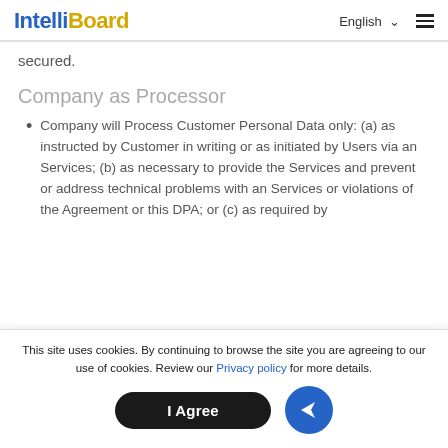IntelliBoard | English
secured.
Company as Processor
Company will Process Customer Personal Data only: (a) as instructed by Customer in writing or as initiated by Users via an Services; (b) as necessary to provide the Services and prevent or address technical problems with an Services or violations of the Agreement or this DPA; or (c) as required by
This site uses cookies. By continuing to browse the site you are agreeing to our use of cookies. Review our Privacy policy for more details.
I Agree